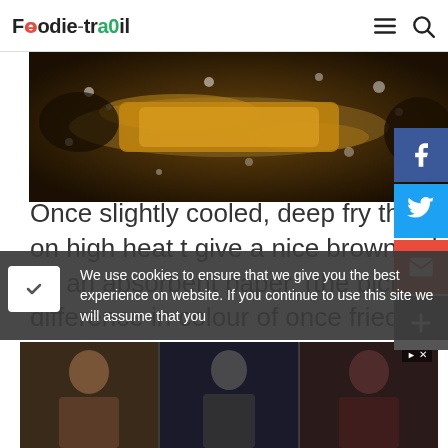Foodie-trail
[Figure (photo): Close-up photo of food deep frying in hot oil, showing golden-brown color and bubbling oil]
Once slightly cooled, deep fry the once fried potatoes on high heat to give a nice brown colour. Once fried drain on an absorbent paper. (the picture shows the difference in colour of once fried and twice fried potatoes. )
We use cookies to ensure that we give you the best experience on website. If you continue to use this site we will assume that you
[Figure (photo): Advertisement banner showing three celebrity photos side by side]